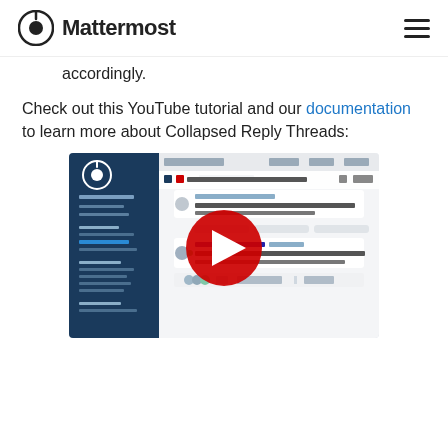Mattermost
accordingly.
Check out this YouTube tutorial and our documentation to learn more about Collapsed Reply Threads:
[Figure (screenshot): YouTube video thumbnail showing Mattermost - Collapsed Re... with a red play button overlay, displaying the Mattermost interface with channels, threads, and a conversation featuring Javier Gardner.]